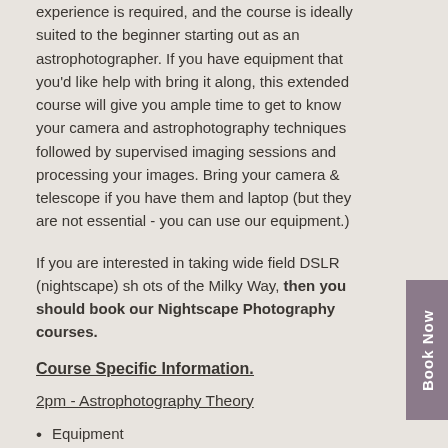experience is required, and the course is ideally suited to the beginner starting out as an astrophotographer. If you have equipment that you'd like help with bring it along, this extended course will give you ample time to get to know your camera and astrophotography techniques followed by supervised imaging sessions and processing your images. Bring your camera & telescope if you have them and laptop (but they are not essential - you can use our equipment.)
If you are interested in taking wide field DSLR (nightscape) shots of the Milky Way, then you should book our Nightscape Photography courses.
Course Specific Information.
2pm - Astrophotography Theory
Equipment
Telescope types and their suitability for astrophotography
Tracking mounts and polar alignment
Types of suitable camera
DSLR basics, getting off the “auto” setting
Specialist Astrophotography cameras
Filters